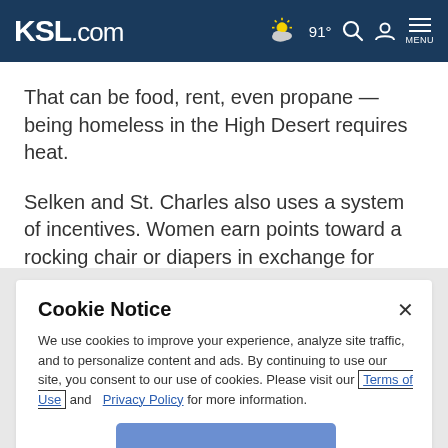KSL.com | 91° weather, search, account, menu
That can be food, rent, even propane — being homeless in the High Desert requires heat.
Selken and St. Charles also uses a system of incentives. Women earn points toward a rocking chair or diapers in exchange for going to their well-baby checks and immunization appointments. One premature baby, held in
Cookie Notice
We use cookies to improve your experience, analyze site traffic, and to personalize content and ads. By continuing to use our site, you consent to our use of cookies. Please visit our Terms of Use and Privacy Policy for more information.
Continue